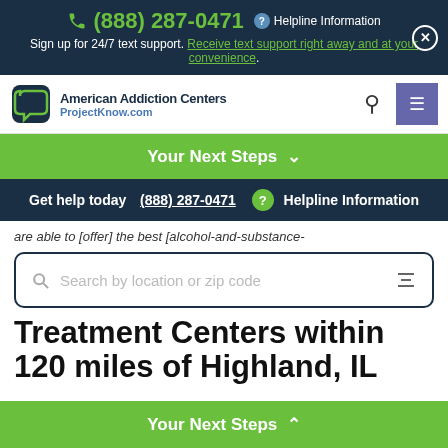(888) 287-0471 Helpline Information Sign up for 24/7 text support. Receive text support right away and at your convenience.
[Figure (logo): American Addiction Centers / ProjectKnow.com logo with speech bubble icon]
Your Next Steps
Get help today (888) 287-0471 ? Helpline Information
are able to [offer] the best [alcohol-and-substance-
Search by location or zip code
Treatment Centers within 120 miles of Highland, IL
Your Next Steps